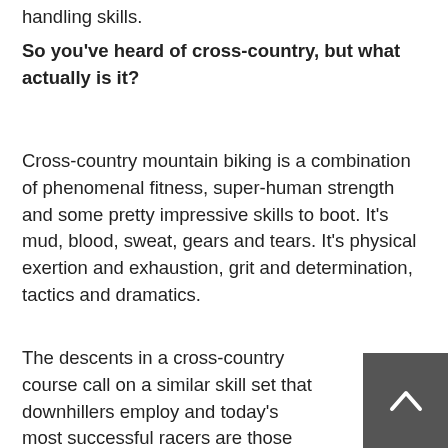handling skills.
So you've heard of cross-country, but what actually is it?
Cross-country mountain biking is a combination of phenomenal fitness, super-human strength and some pretty impressive skills to boot. It's mud, blood, sweat, gears and tears. It's physical exertion and exhaustion, grit and determination, tactics and dramatics.
The descents in a cross-country course call on a similar skill set that downhillers employ and today's most successful racers are those with bike-handling